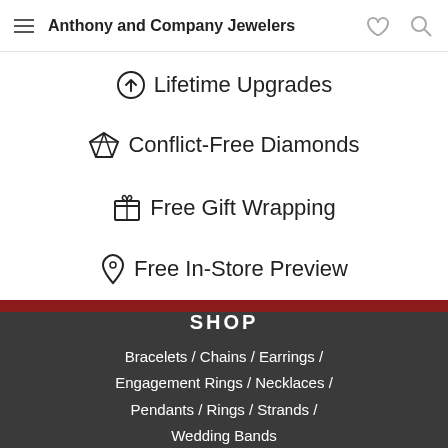Anthony and Company Jewelers
⬆ Lifetime Upgrades
◈ Conflict-Free Diamonds
🎁 Free Gift Wrapping
📍 Free In-Store Preview
SHOP
Bracelets / Chains / Earrings / Engagement Rings / Necklaces / Pendants / Rings / Strands / Wedding Bands